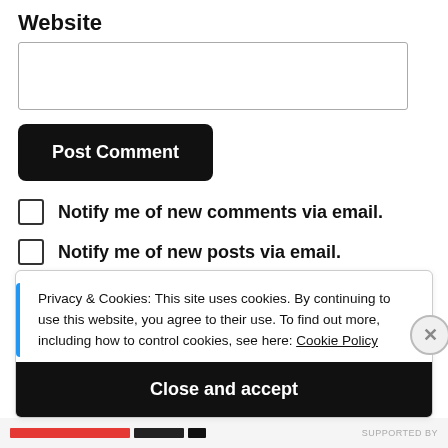Website
[Website input field]
Post Comment
Notify me of new comments via email.
Notify me of new posts via email.
Privacy & Cookies: This site uses cookies. By continuing to use this website, you agree to their use. To find out more, including how to control cookies, see here: Cookie Policy
Close and accept